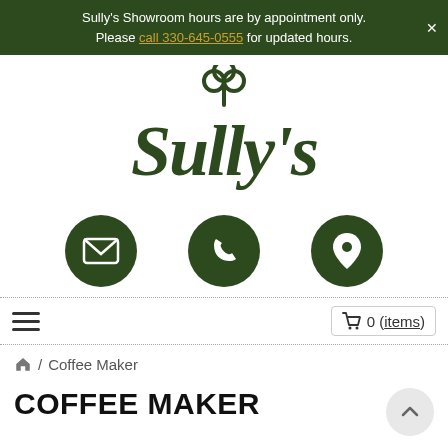Sully's Showroom hours are by appointment only. Please call 330-645-0555 for updated hours.
[Figure (logo): Sully's logo in dark green with shamrock/clover on top]
[Figure (infographic): Three dark green circular icon buttons: email envelope, phone handset, and map/location pin]
≡  🛒 0 (items)
🏠 / Coffee Maker
COFFEE MAKER